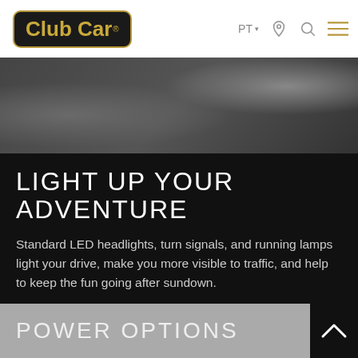[Figure (logo): Club Car logo — gold text on black rounded rectangle with gold border]
[Figure (photo): Close-up photo of a vehicle component, dark/gray tones, showing LED headlight or similar hardware]
LIGHT UP YOUR ADVENTURE
Standard LED headlights, turn signals, and running lamps light your drive, make you more visible to traffic, and help to keep the fun going after sundown.
POWER OPTIONS